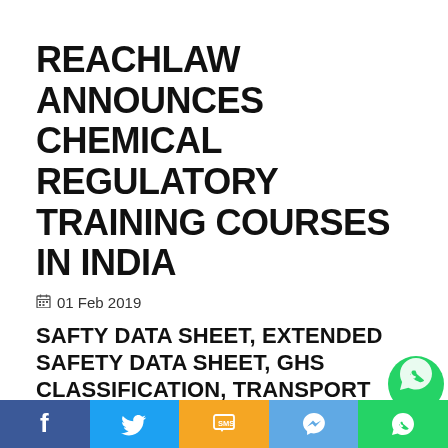REACHLAW ANNOUNCES CHEMICAL REGULATORY TRAINING COURSES IN INDIA
📅 01 Feb 2019
SAFTY DATA SHEET, EXTENDED SAFETY DATA SHEET, GHS CLASSIFICATION, TRANSPORT CLASSIFICATION &GHS LABELS
WHY THE PERSON OR TEAM PREPARING SDS HAS TO BE COMPETENT?
Social share bar: Facebook, Twitter, SMS, Messenger, WhatsApp